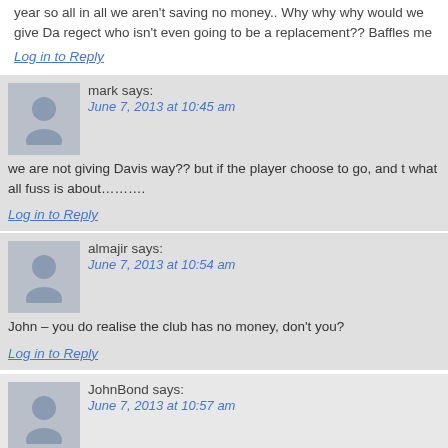year so all in all we aren't saving no money.. Why why why would we give Da regect who isn't even going to be a replacement?? Baffles me
Log in to Reply
mark says: June 7, 2013 at 10:45 am
we are not giving Davis way?? but if the player choose to go, and t what all fuss is about……….
Log in to Reply
almajir says: June 7, 2013 at 10:54 am
John – you do realise the club has no money, don't you?
Log in to Reply
JohnBond says: June 7, 2013 at 10:57 am
You read it wrong yes I know we have no money.. And yes I know we I'm trying to say is don't we need a permanent replacement not just a season the birmingham mail it says Zigic hasn't been approached about his wages
Log in to Reply